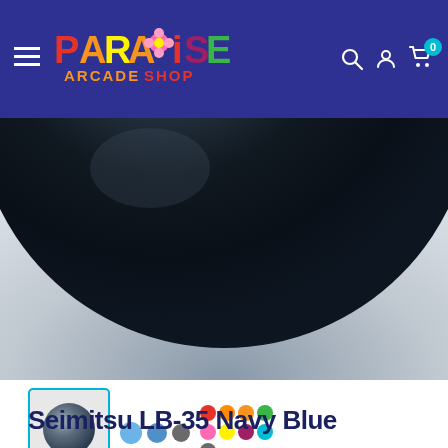Paradise Arcade Shop — navigation header with logo, search, account, and cart icons
[Figure (photo): Close-up photo of a Seimitsu LB-35 Navy Blue ball top arcade joystick knob, showing a large dark navy/dark teal sphere against a light grey surface]
[Figure (photo): Thumbnail row: selected navy blue ball top (highlighted with cyan border), three colored dots thumbnail (light blue, medium blue, grey), and a multi-color ball collection thumbnail]
Seimitsu LB-35 Navy Blue